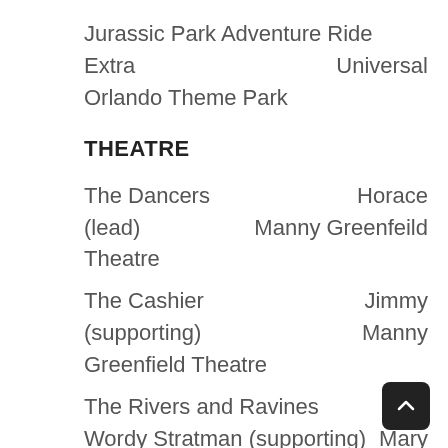Jurassic Park Adventure Ride Extra   Universal Orlando Theme Park
THEATRE
The Dancers (lead)   Horace Manny Greenfeild Theatre
The Cashier (supporting)   Jimmy Manny Greenfield Theatre
The Rivers and Ravines   Wordy Stratman (supporting)   Mary